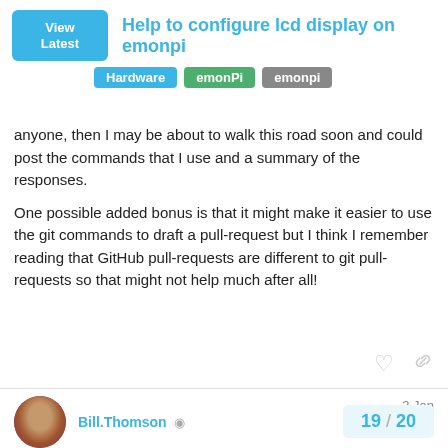Help to configure lcd display on emonpi | Hardware | emonPi | emonpi
anyone, then I may be about to walk this road soon and could post the commands that I use and a summary of the responses.
One possible added bonus is that it might make it easier to use the git commands to draft a pull-request but I think I remember reading that GitHub pull-requests are different to git pull-requests so that might not help much after all!
Bill.Thomson 3 Jan
I stopped using emonCMS about 4 years ago. (switched to InfluxDB/Grafana)
Hence, I haven't used git (WRT emonCMS) since then.
19 / 20